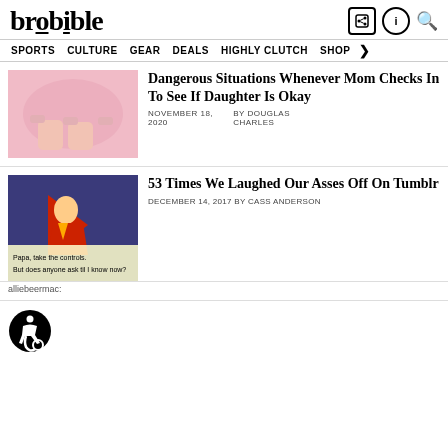brobible
SPORTS  CULTURE  GEAR  DEALS  HIGHLY CLUTCH  SHOP >
Dangerous Situations Whenever Mom Checks In To See If Daughter Is Okay
NOVEMBER 18, 2020  BY DOUGLAS CHARLES
53 Times We Laughed Our Asses Off On Tumblr
DECEMBER 14, 2017  BY CASS ANDERSON
alliebeermac:
[Figure (other): Accessibility wheelchair icon]